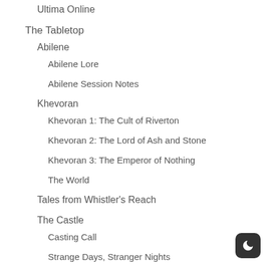Ultima Online
The Tabletop
Abilene
Abilene Lore
Abilene Session Notes
Khevoran
Khevoran 1: The Cult of Riverton
Khevoran 2: The Lord of Ash and Stone
Khevoran 3: The Emperor of Nothing
The World
Tales from Whistler's Reach
The Castle
Casting Call
Strange Days, Stranger Nights
The Last Legion
Armageddon